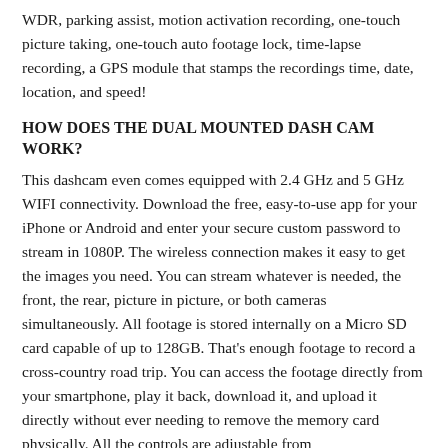WDR, parking assist, motion activation recording, one-touch picture taking, one-touch auto footage lock, time-lapse recording, a GPS module that stamps the recordings time, date, location, and speed!
HOW DOES THE DUAL MOUNTED DASH CAM WORK?
This dashcam even comes equipped with 2.4 GHz and 5 GHz WIFI connectivity. Download the free, easy-to-use app for your iPhone or Android and enter your secure custom password to stream in 1080P. The wireless connection makes it easy to get the images you need. You can stream whatever is needed, the front, the rear, picture in picture, or both cameras simultaneously. All footage is stored internally on a Micro SD card capable of up to 128GB. That's enough footage to record a cross-country road trip. You can access the footage directly from your smartphone, play it back, download it, and upload it directly without ever needing to remove the memory card physically. All the controls are adjustable from